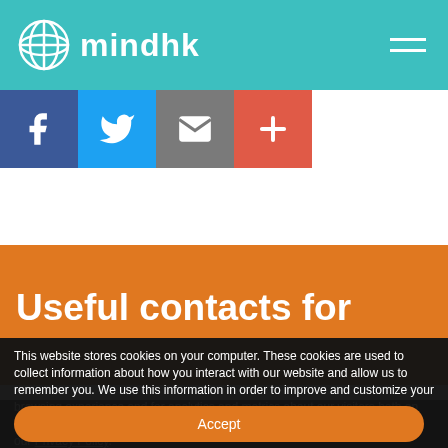mindhk
[Figure (logo): mindhk logo with globe icon on teal background header bar with hamburger menu]
[Figure (infographic): Social share buttons: Facebook (blue), Twitter (light blue), Email (grey), Plus/more (red-orange)]
Useful contacts for
This website stores cookies on your computer. These cookies are used to collect information about how you interact with our website and allow us to remember you. We use this information in order to improve and customize your browsing experience and for analytics and metrics about our visitors both on this website and other media. To find out more about the cookies we use, see our Privacy Policy.
Accept